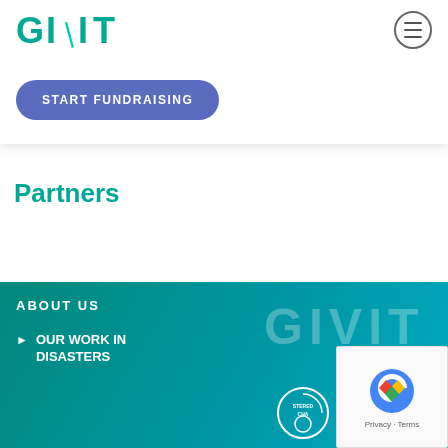GIVIT
[Figure (logo): GIVIT logo in teal with stylized slash]
START FUNDRAISING
Partners
ABOUT US
OUR WORK IN DISASTERS
[Figure (logo): GIVIT logo in white on teal footer background]
[Figure (logo): Registered Charity badge circular seal]
[Figure (logo): reCAPTCHA widget overlay at bottom right]